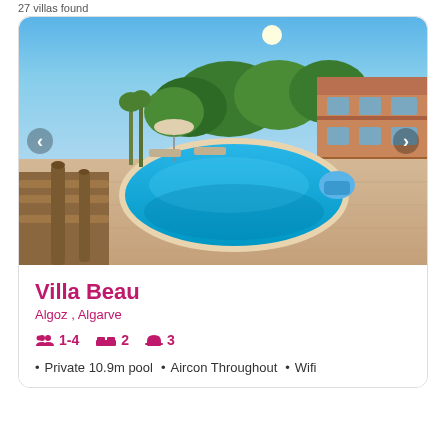27 villas found
[Figure (photo): Outdoor swimming pool with wooden railing in foreground, terracotta villa building on right, trees and patio chairs in background, clear blue sky]
Villa Beau
Algoz , Algarve
1-4  2  3
Private 10.9m pool
Aircon Throughout
Wifi